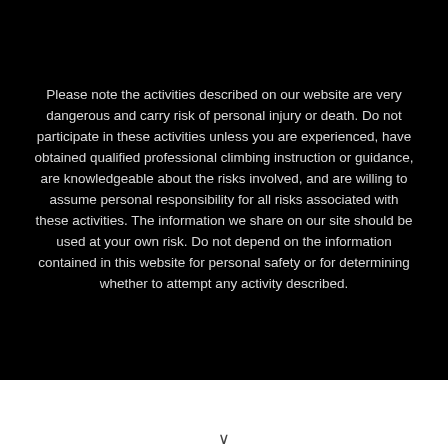Please note the activities described on our website are very dangerous and carry risk of personal injury or death. Do not participate in these activities unless you are experienced, have obtained qualified professional climbing instruction or guidance, are knowledgeable about the risks involved, and are willing to assume personal responsibility for all risks associated with these activities. The information we share on our site should be used at your own risk. Do not depend on the information contained in this website for personal safety or for determining whether to attempt any activity described.